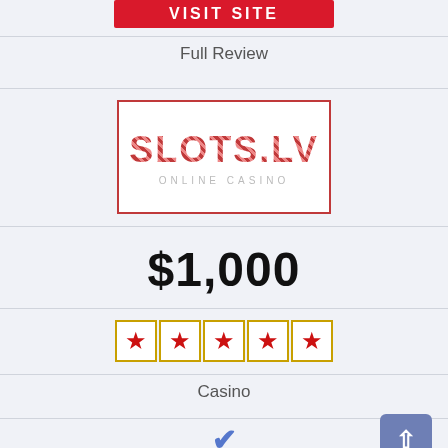[Figure (logo): VISIT SITE red button at top]
Full Review
[Figure (logo): SLOTS.LV ONLINE CASINO logo with red border]
$1,000
[Figure (other): 5 star rating boxes with red stars, 4.5 out of 5]
Casino
[Figure (other): Blue checkmark indicating availability]
[Figure (other): Blue scroll-to-top button with upward arrow]